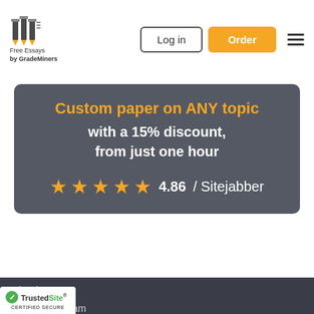Free Essays by GradeMiners | Log in | Order
[Figure (infographic): Promotional card on dark gray background: 'Custom paper on ANY topic with a 15% discount, from just one hour' with 5 gold stars and rating '4.86 / Sitejabber']
Abortion
American Dream
[Figure (logo): TrustedSite CERTIFIED SECURE badge with green checkmark]